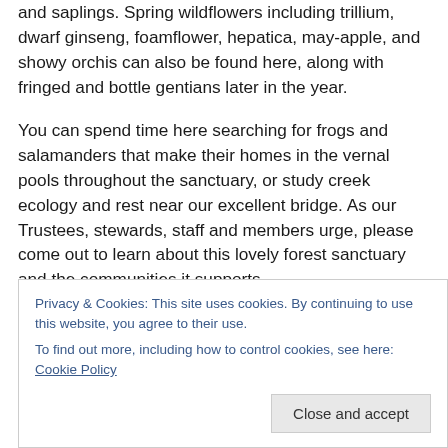ash, spicebush, serviceberry and flowering dogwood trees and saplings. Spring wildflowers including trillium, dwarf ginseng, foamflower, hepatica, may-apple, and showy orchis can also be found here, along with fringed and bottle gentians later in the year.
You can spend time here searching for frogs and salamanders that make their homes in the vernal pools throughout the sanctuary, or study creek ecology and rest near our excellent bridge. As our Trustees, stewards, staff and members urge, please come out to learn about this lovely forest sanctuary and the communities it supports.
Privacy & Cookies: This site uses cookies. By continuing to use this website, you agree to their use. To find out more, including how to control cookies, see here: Cookie Policy